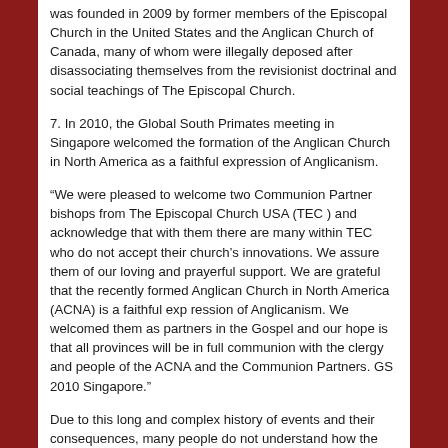was founded in 2009 by former members of the Episcopal Church in the United States and the Anglican Church of Canada, many of whom were illegally deposed after disassociating themselves from the revisionist doctrinal and social teachings of The Episcopal Church.
7. In 2010, the Global South Primates meeting in Singapore welcomed the formation of the Anglican Church in North America as a faithful expression of Anglicanism.
“We were pleased to welcome two Communion Partner bishops from The Episcopal Church USA (TEC ) and acknowledge that with them there are many within TEC who do not accept their church’s innovations. We assure them of our loving and prayerful support. We are grateful that the recently formed Anglican Church in North America (ACNA) is a faithful exp ression of Anglicanism. We welcomed them as partners in the Gospel and our hope is that all provinces will be in full communion with the clergy and people of the ACNA and the Communion Partners. GS 2010 Singapore.”
Due to this long and complex history of events and their consequences, many people do not understand how the faithful Anglicans who are currently in the Anglican Church in North America have struggled to keep the unity of the church, and at the same time remain faithful to the Anglican...